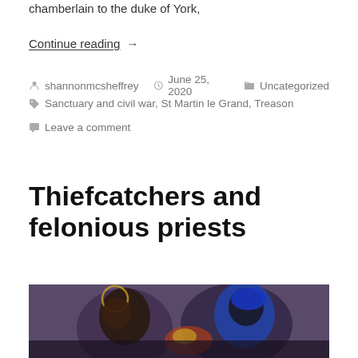chamberlain to the duke of York,
Continue reading →
shannonmcsheffrey  June 25, 2020  Uncategorized
Sanctuary and civil war, St Martin le Grand, Treason
Leave a comment
Thiefcatchers and felonious priests
[Figure (photo): A painting showing two figures, one with a halo, in dark purple/blue tones, appearing to be in a struggle or embrace.]